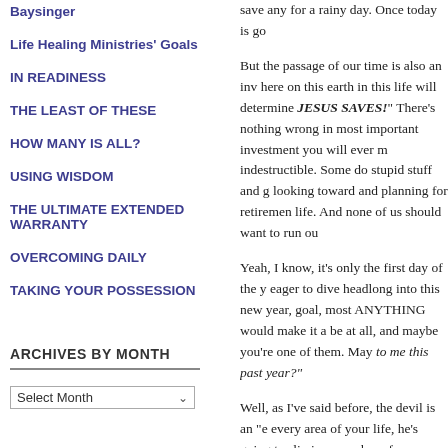Baysinger
Life Healing Ministries' Goals
IN READINESS
THE LEAST OF THESE
HOW MANY IS ALL?
USING WISDOM
THE ULTIMATE EXTENDED WARRANTY
OVERCOMING DAILY
TAKING YOUR POSSESSION
ARCHIVES BY MONTH
save any for a rainy day. Once today is go
But the passage of our time is also an inv here on this earth in this life will determine JESUS SAVES! There's nothing wrong in most important investment you will ever m indestructible. Some do stupid stuff and g looking toward and planning for retiremen life. And none of us should want to run ou
Yeah, I know, it's only the first day of the y eager to dive headlong into this new year, goal, most ANYTHING would make it a be at all, and maybe you're one of them. May to me this past year?"
Well, as I've said before, the devil is an "e every area of your life, he's going to slip in a member of your family, or maybe your p paying attention, and expecting God to ba tuned into what God is telling us and bein that's going on in the world today, it's eas